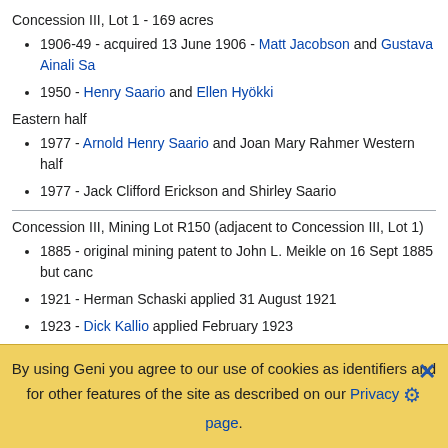Concession III, Lot 1 - 169 acres
1906-49 - acquired 13 June 1906 - Matt Jacobson and Gustava Ainali Sa...
1950 - Henry Saario and Ellen Hyökki
Eastern half
1977 - Arnold Henry Saario and Joan Mary Rahmer Western half
1977 - Jack Clifford Erickson and Shirley Saario
Concession III, Mining Lot R150 (adjacent to Concession III, Lot 1)
1885 - original mining patent to John L. Meikle on 16 Sept 1885 but cano...
1921 - Herman Schaski applied 31 August 1921
1923 - Dick Kallio applied February 1923
Concession III, Lot 2 -167 acres
1904 - 1908 - acquired 11 May 1904 by Dan Hendrickson
By using Geni you agree to our use of cookies as identifiers and for other features of the site as described on our Privacy page.